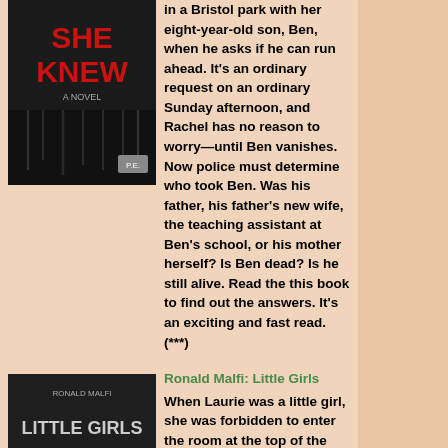in a Bristol park with her eight-year-old son, Ben, when he asks if he can run ahead. It's an ordinary request on an ordinary Sunday afternoon, and Rachel has no reason to worry—until Ben vanishes. Now police must determine who took Ben. Was his father, his father's new wife, the teaching assistant at Ben's school, or his mother herself? Is Ben dead? Is he still alive. Read the this book to find out the answers. It's an exciting and fast read. (***)
Ronald Malfi: Little Girls
When Laurie was a little girl, she was forbidden to enter the room at the top of the stairs. It was one of many rules imposed by her cold, distant father. Now, in a final act of